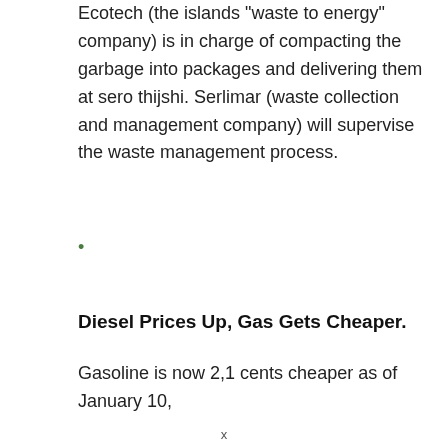Ecotech (the islands "waste to energy" company) is in charge of compacting the garbage into packages and delivering them at sero thijshi. Serlimar (waste collection and management company) will supervise the waste management process.
•
Diesel Prices Up, Gas Gets Cheaper.
Gasoline is now 2,1 cents cheaper as of January 10,